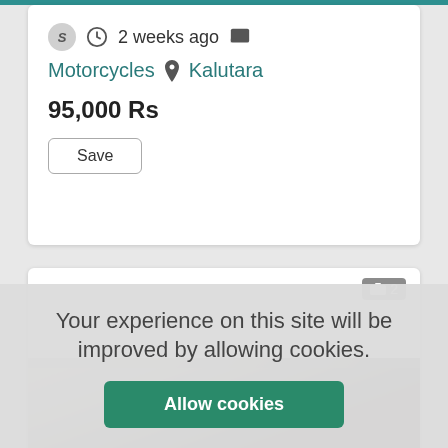S  2 weeks ago
Motorcycles  Kalutara
95,000 Rs
Save
[Figure (photo): Partial view of a vehicle (car/SUV) roof photographed against a stone wall background, with a photo count badge showing camera icon and '2']
Your experience on this site will be improved by allowing cookies.
Allow cookies